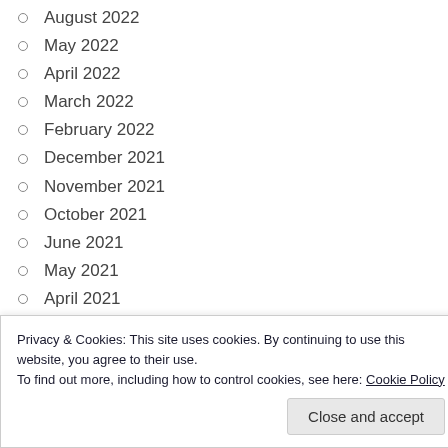August 2022
May 2022
April 2022
March 2022
February 2022
December 2021
November 2021
October 2021
June 2021
May 2021
April 2021
March 2021
February 2021
Privacy & Cookies: This site uses cookies. By continuing to use this website, you agree to their use.
To find out more, including how to control cookies, see here: Cookie Policy
Close and accept